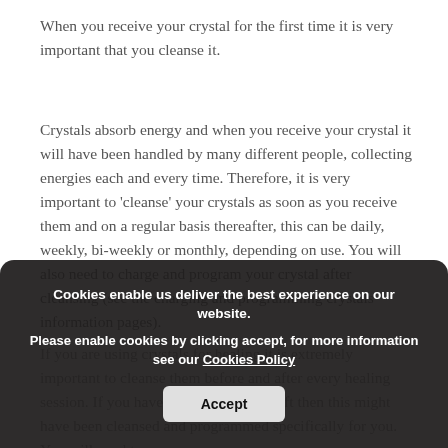When you receive your crystal for the first time it is very important that you cleanse it.
Crystals absorb energy and when you receive your crystal it will have been handled by many different people, collecting energies each and every time. Therefore, it is very important to 'cleanse' your crystals as soon as you receive them and on a regular basis thereafter, this can be daily, weekly, bi-weekly or monthly, depending on use. You will also need to charge and program your crystal after cleansing (see the charging and programming crystals information pages).
If you are using crystals for healing it is extremely important to cleanse them before and after every healing session. If you have your crystal as a gift then this might have been cleansed and programmed specifically for you. You will need to
Cookies enable us deliver the best experience on our website.
Please enable cookies by clicking accept, for more information see our Cookies Policy
Accept